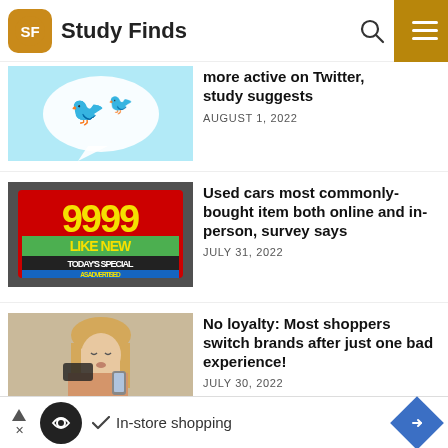Study Finds
[Figure (photo): Twitter bird logos on speech bubble held by hand]
more active on Twitter, study suggests
AUGUST 1, 2022
[Figure (photo): Used car windshield with price sticker reading 9999 LIKE NEW TODAY'S SPECIAL AS ADVERTISED]
Used cars most commonly-bought item both online and in-person, survey says
JULY 31, 2022
[Figure (photo): Woman looking stressed holding credit card and phone]
No loyalty: Most shoppers switch brands after just one bad experience!
JULY 30, 2022
In-store shopping